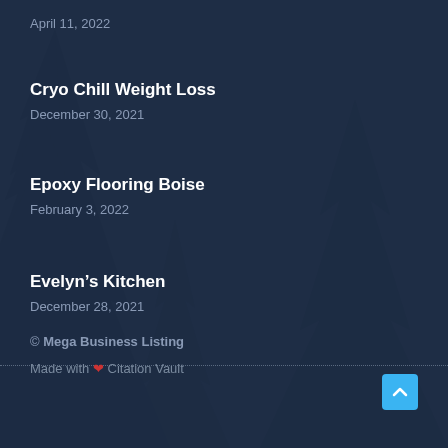April 11, 2022
Cryo Chill Weight Loss
December 30, 2021
Epoxy Flooring Boise
February 3, 2022
Evelyn’s Kitchen
December 28, 2021
© Mega Business Listing
Made with ♥ Citation Vault